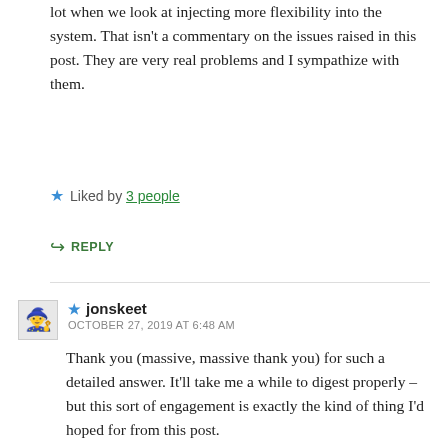lot when we look at injecting more flexibility into the system. That isn't a commentary on the issues raised in this post. They are very real problems and I sympathize with them.
★ Liked by 3 people
↪ REPLY
★ jonskeet
OCTOBER 27, 2019 AT 6:48 AM
Thank you (massive, massive thank you) for such a detailed answer. It'll take me a while to digest properly – but this sort of engagement is exactly the kind of thing I'd hoped for from this post.
I completely agree with the desire to keep/make things as simple as possible – while also avoiding